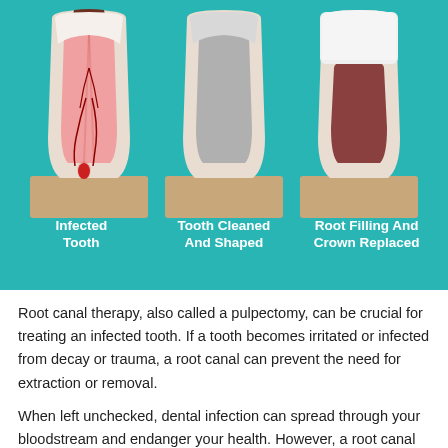[Figure (infographic): Three-stage diagram of root canal therapy showing cross-sections of teeth: 1) Infected Tooth with decay and inflamed pulp, 2) Tooth Cleaned And Shaped with grey filling material, 3) Root Filling And Crown Replaced with white crown and dark root filling. Set against a teal background.]
Root canal therapy, also called a pulpectomy, can be crucial for treating an infected tooth. If a tooth becomes irritated or infected from decay or trauma, a root canal can prevent the need for extraction or removal.
When left unchecked, dental infection can spread through your bloodstream and endanger your health. However, a root canal can